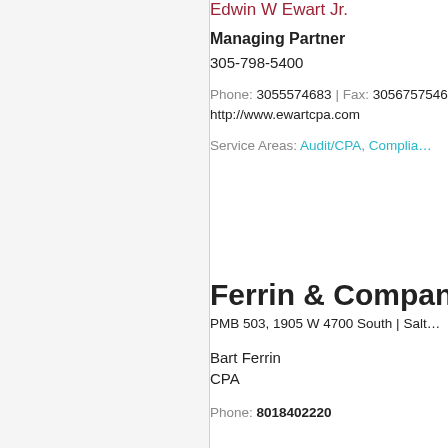Edwin W Ewart Jr.
Managing Partner
305-798-5400
Phone: 3055574683 | Fax: 3056757546
http://www.ewartcpa.com
Service Areas: Audit/CPA, Compliance
Ferrin & Company
PMB 503, 1905 W 4700 South | Salt Lake City
Bart Ferrin
CPA
Phone: 8018402220